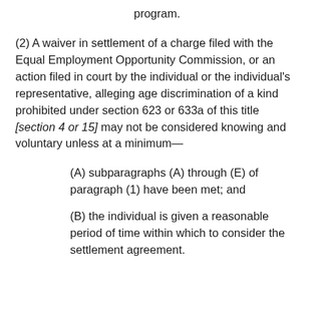program.
(2) A waiver in settlement of a charge filed with the Equal Employment Opportunity Commission, or an action filed in court by the individual or the individual's representative, alleging age discrimination of a kind prohibited under section 623 or 633a of this title [section 4 or 15] may not be considered knowing and voluntary unless at a minimum—
(A) subparagraphs (A) through (E) of paragraph (1) have been met; and
(B) the individual is given a reasonable period of time within which to consider the settlement agreement.